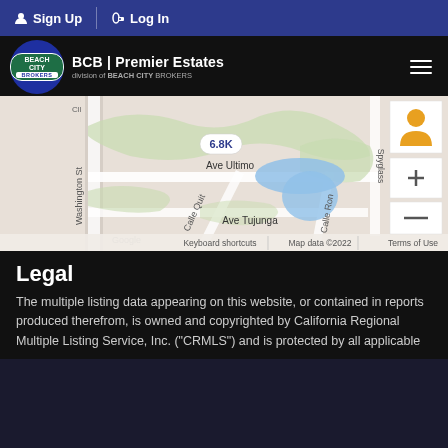Sign Up | Log In
[Figure (logo): Beach City Brokers logo — BCB Premier Estates, division of Beach City Brokers]
[Figure (map): Google map showing area around Ave Ultimo, Ave Tujunga, Calle Quit, Calle Ron, Washington St, Spyglass, with label 6.8K and 'le Pines Dr'. Map data ©2022. Shows blue water features. Keyboard shortcuts, Terms of Use links visible.]
Legal
The multiple listing data appearing on this website, or contained in reports produced therefrom, is owned and copyrighted by California Regional Multiple Listing Service, Inc. ("CRMLS") and is protected by all applicable